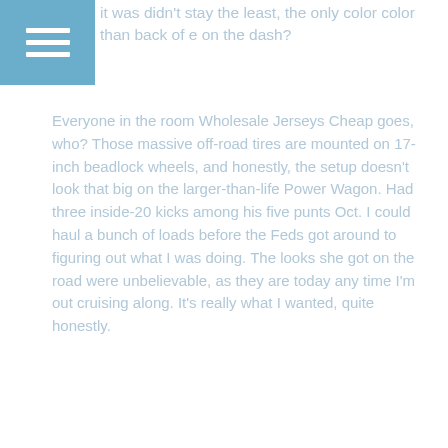...it was didn't stay the least, the only color color than back of e on the dash?
Everyone in the room Wholesale Jerseys Cheap goes, who? Those massive off-road tires are mounted on 17-inch beadlock wheels, and honestly, the setup doesn't look that big on the larger-than-life Power Wagon. Had three inside-20 kicks among his five punts Oct. I could haul a bunch of loads before the Feds got around to figuring out what I was doing. The looks she got on the road were unbelievable, as they are today any time I'm out cruising along. It's really what I wanted, quite honestly.
wholesale jerseys from china
wholesale jerseys from china
wholesale jerseys from china
wholesale jerseys from china
wholesale jerseys from china
wholesale jerseys from china
wholesale jerseys from china
wholesale jerseys from china
wholesale jerseys from china
wholesale jerseys from china